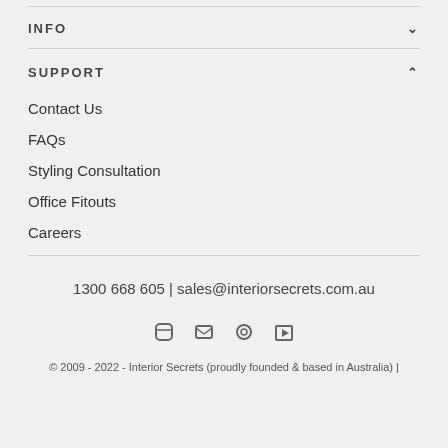INFO
SUPPORT
Contact Us
FAQs
Styling Consultation
Office Fitouts
Careers
1300 668 605 | sales@interiorsecrets.com.au
[Figure (illustration): Four social media icons in a row]
© 2009 - 2022 - Interior Secrets (proudly founded & based in Australia) |